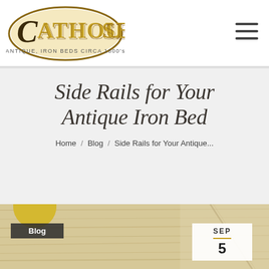[Figure (logo): Cathouse logo with decorative lettering reading CATHOUSE and subtitle ANTIQUE, IRON BEDS CIRCA 1800's]
[Figure (other): Hamburger menu icon (three horizontal lines) in top right corner]
Side Rails for Your Antique Iron Bed
Home / Blog / Side Rails for Your Antique...
[Figure (photo): Bottom portion showing wooden boards (light pine/birch colored) with a 'Blog' badge on left and a date badge showing SEP 5 on the right]